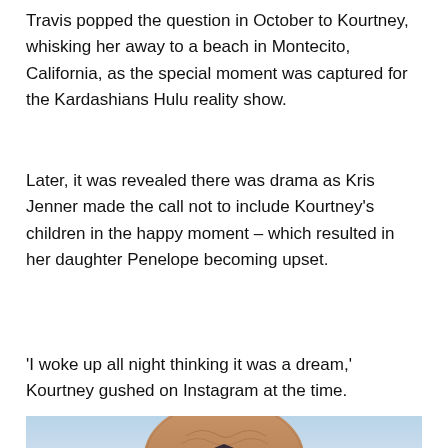Travis popped the question in October to Kourtney, whisking her away to a beach in Montecito, California, as the special moment was captured for the Kardashians Hulu reality show.
Later, it was revealed there was drama as Kris Jenner made the call not to include Kourtney's children in the happy moment – which resulted in her daughter Penelope becoming upset.
'I woke up all night thinking it was a dream,' Kourtney gushed on Instagram at the time.
[Figure (photo): A partial photo showing a person with tattoos, likely Travis Barker, against a light blue sky background, cropped at the bottom of the page.]